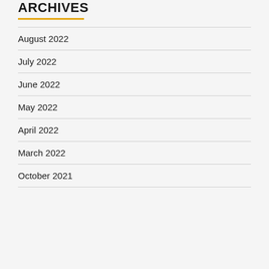ARCHIVES
August 2022
July 2022
June 2022
May 2022
April 2022
March 2022
October 2021